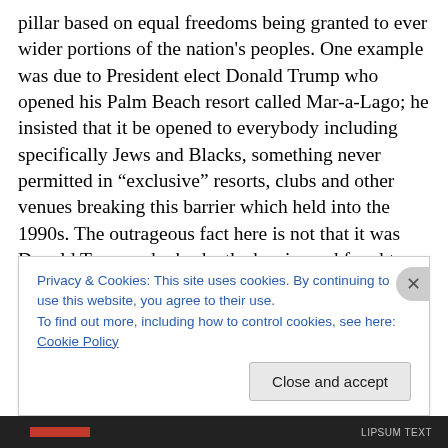pillar based on equal freedoms being granted to ever wider portions of the nation's peoples. One example was due to President elect Donald Trump who opened his Palm Beach resort called Mar-a-Lago; he insisted that it be opened to everybody including specifically Jews and Blacks, something never permitted in “exclusive” resorts, clubs and other venues breaking this barrier which held into the 1990s. The outrageous fact here is not that it was Donald Trump who broke the barrier and fought a running battle with the city officials for over a decade because of his inclusive policies but that Palm Beach had such rules
Privacy & Cookies: This site uses cookies. By continuing to use this website, you agree to their use.
To find out more, including how to control cookies, see here: Cookie Policy
Close and accept